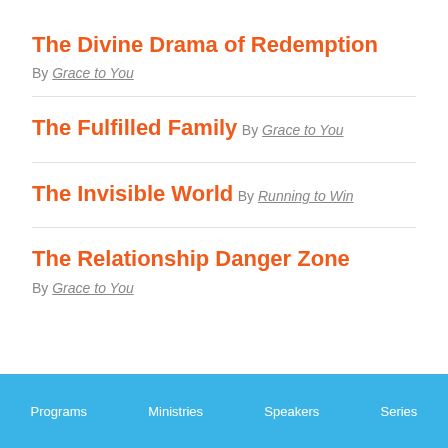The Divine Drama of Redemption
By Grace to You
The Fulfilled Family
By Grace to You
The Invisible World
By Running to Win
The Relationship Danger Zone
By Grace to You
Programs   Ministries   Speakers   Series